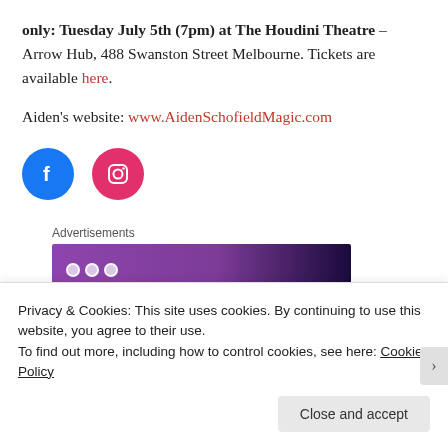only: Tuesday July 5th (7pm) at The Houdini Theatre – Arrow Hub, 488 Swanston Street Melbourne. Tickets are available here.
Aiden's website: www.AidenSchofieldMagic.com
[Figure (other): Facebook and Instagram social media icon circles (blue Facebook, pink Instagram)]
Advertisements
[Figure (other): Purple advertisement banner with dots]
Privacy & Cookies: This site uses cookies. By continuing to use this website, you agree to their use.
To find out more, including how to control cookies, see here: Cookie Policy
Close and accept